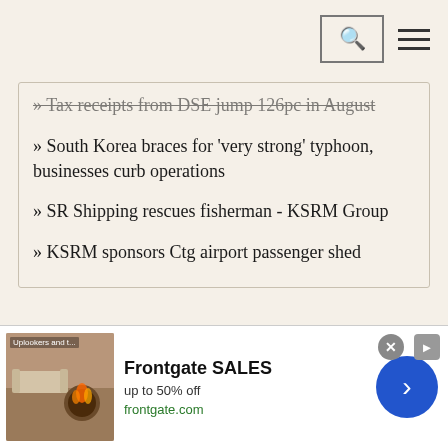Navigation bar with search and menu icons
» Tax receipts from DSE jump 126pc in August
» South Korea braces for 'very strong' typhoon, businesses curb operations
» SR Shipping rescues fisherman - KSRM Group
» KSRM sponsors Ctg airport passenger shed
[Figure (screenshot): Advertisement banner for Frontgate SALES - up to 50% off, showing outdoor furniture image, frontgate.com URL, and blue call-to-action button]